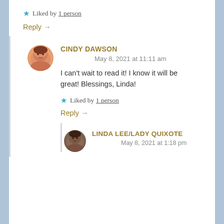★ Liked by 1 person
Reply →
CINDY DAWSON
May 8, 2021 at 11:11 am
I can't wait to read it! I know it will be great! Blessings, Linda!
★ Liked by 1 person
Reply →
[Figure (photo): Avatar photo of Linda Lee/Lady Quixote]
LINDA LEE/LADY QUIXOTE
May 8, 2021 at 1:18 pm